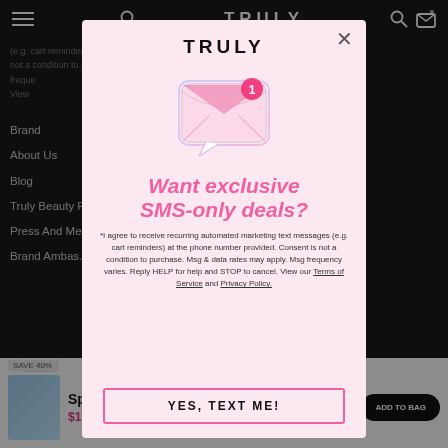[Figure (screenshot): Website background showing Truly beauty brand dark-themed navigation with menu items (Brand, About Us, Blog, Truly Beauty R..., Press And Me..., Brand Ambas...) and partial page content text about SMS marketing consent. Bottom strip shows a promotional product.]
TRULY
[Figure (illustration): Pink envelope with notification badge showing number 1, representing an SMS/email message icon]
Want exclusive SMS-only deals?
*I agree to receive recurring automated marketing text messages (e.g. cart reminders) at the phone number provided. Consent is not a condition to purchase. Msg & data rates may apply. Msg frequency varies. Reply HELP for help and STOP to cancel. View our Terms of Service and Privacy Policy.
YES, TEXT ME!